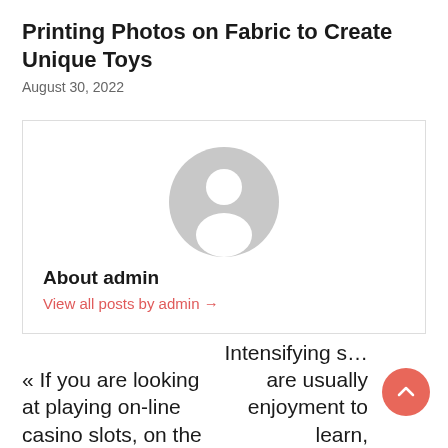Printing Photos on Fabric to Create Unique Toys
August 30, 2022
[Figure (illustration): Generic user avatar — grey circle with white silhouette of a person (head and shoulders)]
About admin
View all posts by admin →
« If you are looking at playing on-line casino slots, on the
Intensifying s… are usually enjoyment to learn,